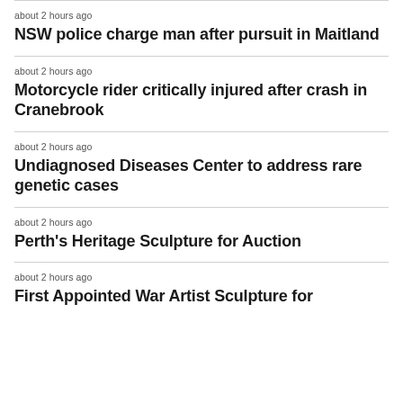about 2 hours ago
NSW police charge man after pursuit in Maitland
about 2 hours ago
Motorcycle rider critically injured after crash in Cranebrook
about 2 hours ago
Undiagnosed Diseases Center to address rare genetic cases
about 2 hours ago
Perth's Heritage Sculpture for Auction
about 2 hours ago
First Appointed War Artist Sculpture for